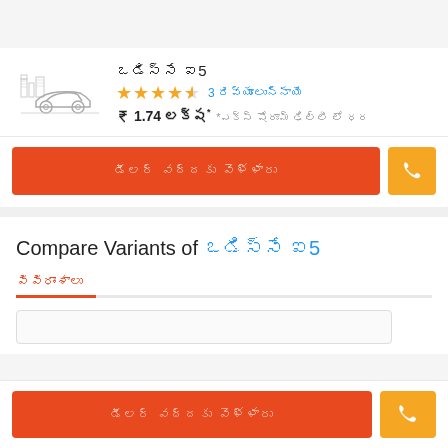[Figure (illustration): Car silhouette icon with building skyline in background, gray line art style]
ఒడిస్సే ఐ5
★★★★½ 3 రివ్యూలున్నాయి
₹ 1.74 లక్ష* *ఎక్స్ షోరూమ్ ఢిల్లీ లో ధర
డీలర్ వద్దకు వెళ్ళారు
Compare Variants of ఒడిస్సే ఐ5
వివిధాంశాలు
డీలర్ వద్దకు వెళ్ళారు